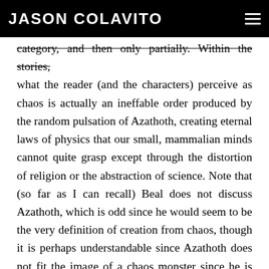JASON COLAVITO
category, and then only partially. Within the stories, what the reader (and the characters) perceive as chaos is actually an ineffable order produced by the random pulsation of Azathoth, creating eternal laws of physics that our small, mammalian minds cannot quite grasp except through the distortion of religion or the abstraction of science. Note that (so far as I can recall) Beal does not discuss Azathoth, which is odd since he would seem to be the very definition of creation from chaos, though it is perhaps understandable since Azathoth does not fit the image of a chaos monster since he is clearly material physics in action.
And here again is where I do have to fault Beal for more or less cherry-picking Lovecraft stories to meet his